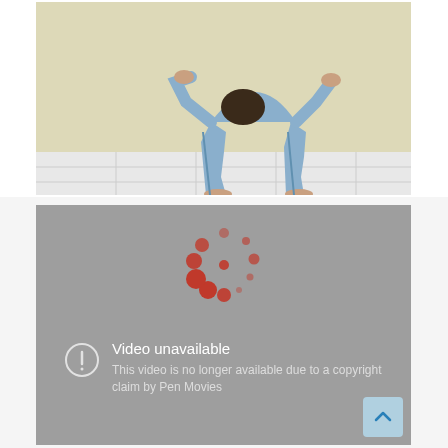[Figure (photo): A person doing a yoga pose (backbend/wheel pose) on a white tiled floor against a beige wall. Only the legs and torso are visible, wearing blue capri pants.]
[Figure (screenshot): A YouTube video unavailable screen with a loading spinner icon (orange dots in circular pattern) and an error message: 'Video unavailable - This video is no longer available due to a copyright claim by Pen Movies']
Video unavailable
This video is no longer available due to a copyright claim by Pen Movies